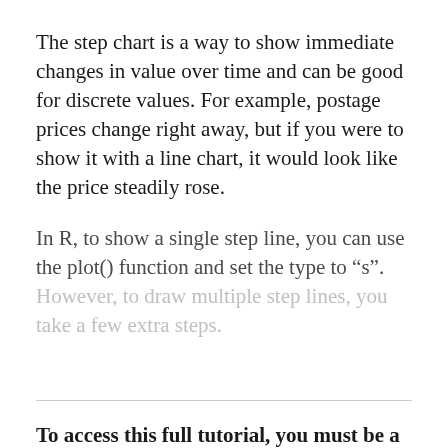The step chart is a way to show immediate changes in value over time and can be good for discrete values. For example, postage prices change right away, but if you were to show it with a line chart, it would look like the price steadily rose.
In R, to show a single step line, you can use the plot() function and set the type to “s”. However, to draw multiple step lines, you take a few extra steps.
To access this full tutorial, you must be a member. (If you are already a member, log